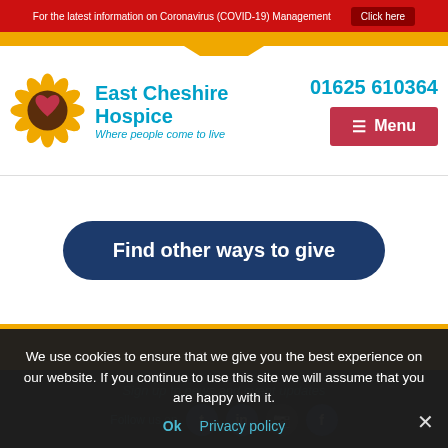For the latest information on Coronavirus (COVID-19) Management   Click here
[Figure (logo): East Cheshire Hospice sunflower logo with heart center]
East Cheshire Hospice
Where people come to live
01625 610364
☰ Menu
Find other ways to give
Sign up to news and event updates
Follow us on
We use cookies to ensure that we give you the best experience on our website. If you continue to use this site we will assume that you are happy with it.
Ok   Privacy policy